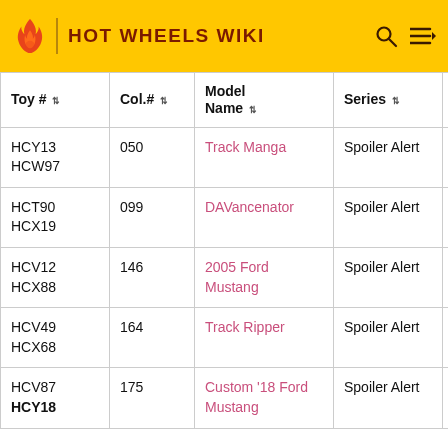HOT WHEELS WIKI
| Toy # | Col.# | Model Name | Series | Series # |
| --- | --- | --- | --- | --- |
| HCY13
HCW97 | 050 | Track Manga | Spoiler Alert | 1/5 |
| HCT90
HCX19 | 099 | DAVancenator | Spoiler Alert | 2/5 |
| HCV12
HCX88 | 146 | 2005 Ford Mustang | Spoiler Alert | 3/5 |
| HCV49
HCX68 | 164 | Track Ripper | Spoiler Alert | 4/5 |
| HCV87
HCY18 | 175 | Custom '18 Ford Mustang | Spoiler Alert | 5/5 |